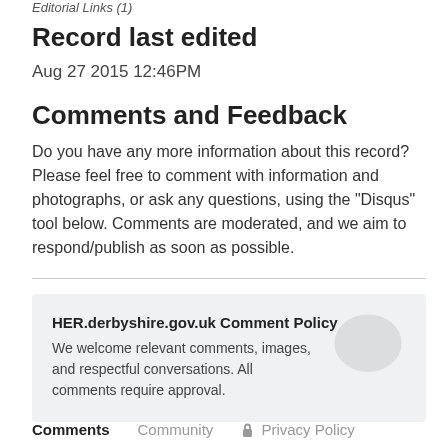Editorial Links (1)
Record last edited
Aug 27 2015 12:46PM
Comments and Feedback
Do you have any more information about this record? Please feel free to comment with information and photographs, or ask any questions, using the "Disqus" tool below. Comments are moderated, and we aim to respond/publish as soon as possible.
[Figure (infographic): Comment policy box with chat bubble icon. Title: HER.derbyshire.gov.uk Comment Policy. Text: We welcome relevant comments, images, and respectful conversations. All comments require approval.]
Comments   Community   Privacy Policy